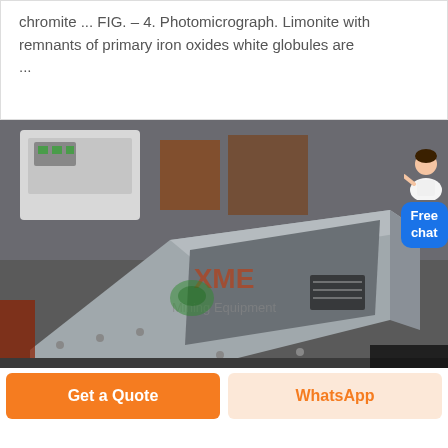chromite ... FIG. – 4. Photomicrograph. Limonite with remnants of primary iron oxides white globules are ...
[Figure (photo): Industrial mining equipment — a large metal vibratory feeder or chute (grey metal box/tray shape) in a workshop/warehouse setting, with XME Mining Equipment watermark overlay. Background shows white machinery and shelving.]
Get a Quote
WhatsApp